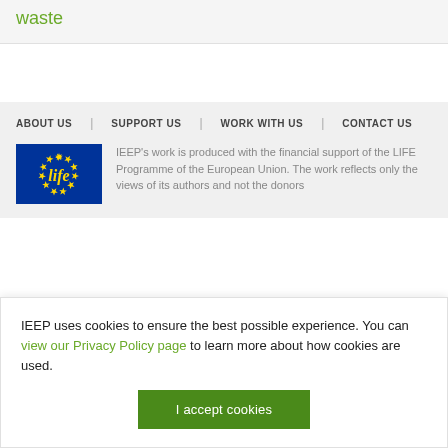waste
ABOUT US   SUPPORT US   WORK WITH US   CONTACT US
[Figure (logo): EU LIFE Programme logo — blue rectangle with yellow EU stars and 'life' text in yellow script]
IEEP's work is produced with the financial support of the LIFE Programme of the European Union. The work reflects only the views of its authors and not the donors
IEEP uses cookies to ensure the best possible experience. You can view our Privacy Policy page to learn more about how cookies are used.
I accept cookies